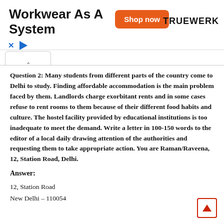[Figure (screenshot): Advertisement banner for Truewerk workwear with orange 'Shop now' button and brand logo]
Question 2: Many students from different parts of the country come to Delhi to study. Finding affordable accommodation is the main problem faced by them. Landlords charge exorbitant rents and in some cases refuse to rent rooms to them because of their different food habits and culture. The hostel facility provided by educational institutions is too inadequate to meet the demand. Write a letter in 100-150 words to the editor of a local daily drawing attention of the authorities and requesting them to take appropriate action. You are Raman/Raveena, 12, Station Road, Delhi.
Answer:
12, Station Road
New Delhi – 110054